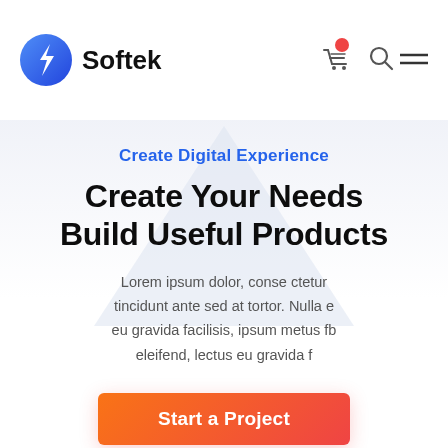[Figure (logo): Softek logo with blue circle icon containing a lightning bolt and bold 'Softek' text]
[Figure (illustration): Shopping cart icon with red notification dot, search icon, and hamburger menu icon in the top right navigation]
[Figure (illustration): Light blue/grey decorative downward-pointing triangle shape as hero background decoration]
Create Digital Experience
Create Your Needs Build Useful Products
Lorem ipsum dolor, conse ctetur tincidunt ante sed at tortor. Nulla e eu gravida facilisis, ipsum metus fb eleifend, lectus eu gravida f
[Figure (illustration): Start a Project CTA button with orange-to-red gradient background and white bold text]